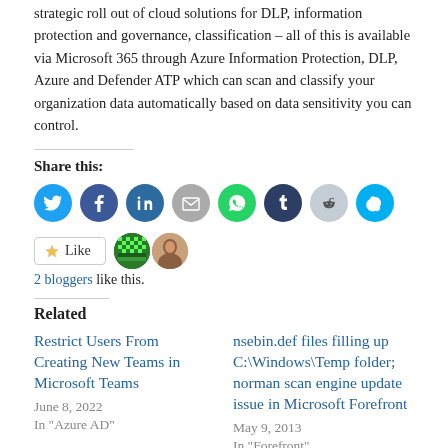strategic roll out of cloud solutions for DLP, information protection and governance, classification – all of this is available via Microsoft 365 through Azure Information Protection, DLP, Azure and Defender ATP which can scan and classify your organization data automatically based on data sensitivity you can control.
Share this:
[Figure (infographic): Row of social media share icons: Twitter (blue), Facebook (blue), LinkedIn (blue), Email (gray), WhatsApp (green), Tumblr (dark navy), Reddit (light gray), Skype (cyan blue)]
[Figure (infographic): Like button widget with star icon and text 'Like', followed by two blogger avatars (a pixel/pattern avatar and a profile photo)]
2 bloggers like this.
Related
Restrict Users From Creating New Teams in Microsoft Teams
June 8, 2022
In "Azure AD"
nsebin.def files filling up C:\Windows\Temp folder; norman scan engine update issue in Microsoft Forefront
May 9, 2013
In "Forefront"